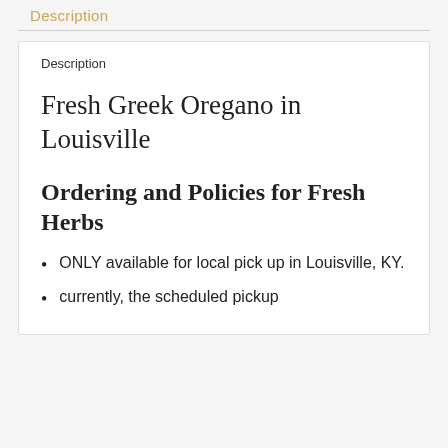Description
Description
Fresh Greek Oregano in Louisville
Ordering and Policies for Fresh Herbs
ONLY available for local pick up in Louisville, KY.
currently, the scheduled pickup